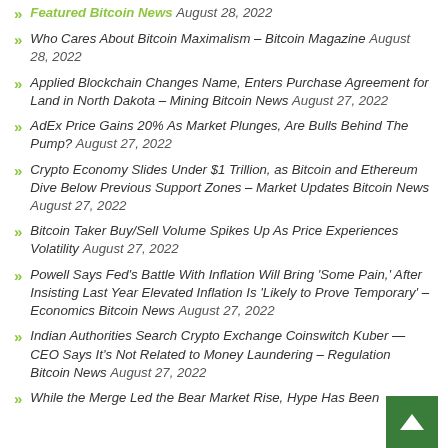Featured Bitcoin News August 28, 2022
Who Cares About Bitcoin Maximalism – Bitcoin Magazine August 28, 2022
Applied Blockchain Changes Name, Enters Purchase Agreement for Land in North Dakota – Mining Bitcoin News August 27, 2022
AdEx Price Gains 20% As Market Plunges, Are Bulls Behind The Pump? August 27, 2022
Crypto Economy Slides Under $1 Trillion, as Bitcoin and Ethereum Dive Below Previous Support Zones – Market Updates Bitcoin News August 27, 2022
Bitcoin Taker Buy/Sell Volume Spikes Up As Price Experiences Volatility August 27, 2022
Powell Says Fed's Battle With Inflation Will Bring 'Some Pain,' After Insisting Last Year Elevated Inflation Is 'Likely to Prove Temporary' – Economics Bitcoin News August 27, 2022
Indian Authorities Search Crypto Exchange Coinswitch Kuber — CEO Says It's Not Related to Money Laundering – Regulation Bitcoin News August 27, 2022
While the Merge Led the Bear Market Rise, Hype Has Been